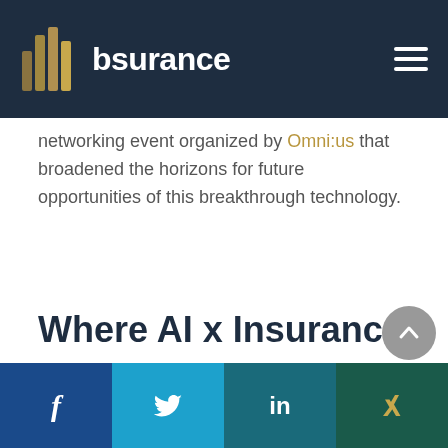bsurance
networking event organized by Omni:us that broadened the horizons for future opportunities of this breakthrough technology.
Where AI x Insurance
f  [twitter bird]  in  x